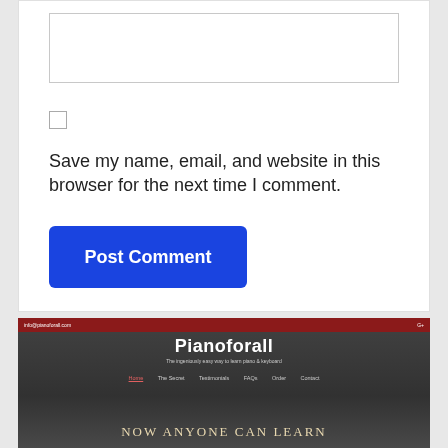[Figure (screenshot): Text area input box with border]
[Figure (screenshot): Checkbox UI element]
Save my name, email, and website in this browser for the next time I comment.
[Figure (screenshot): Post Comment button - blue rounded rectangle]
[Figure (screenshot): Pianoforall website screenshot showing header with logo, navigation (Home, The Secret, Testimonials, FAQs, Order, Contact), and tagline 'Now Anyone Can Learn']